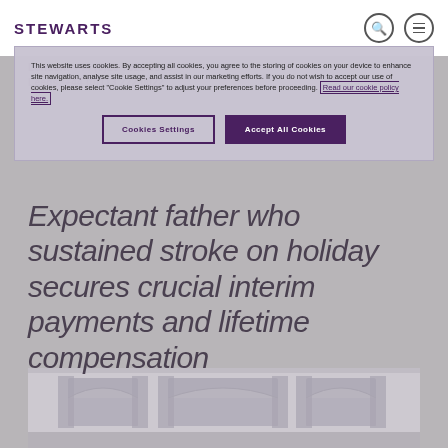STEWARTS
London: +44 (0)20 7822 8000
Leeds: +44 (0)113 222 0022
This website uses cookies. By accepting all cookies, you agree to the storing of cookies on your device to enhance site navigation, analyse site usage, and assist in our marketing efforts. If you do not wish to accept our use of cookies, please select "Cookie Settings" to adjust your preferences before proceeding. Read our cookie policy here.
Expectant father who sustained stroke on holiday secures crucial interim payments and lifetime compensation
[Figure (photo): Interior room photo showing windows with arched tops and curtains, muted gray-purple tones]